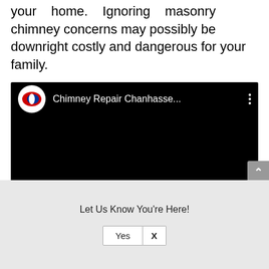your home. Ignoring masonry chimney concerns may possibly be downright costly and dangerous for your family.
[Figure (screenshot): Embedded video player with black background. Top bar shows a circular logo (Champion-style red/blue C on white) and title 'Chimney Repair Chanhasse...' with three-dot menu icon on the right.]
Dayco General is CSIA certified, fully licensed and insured. (License # BC266544)
Let Us Know You're Here!
Yes   X